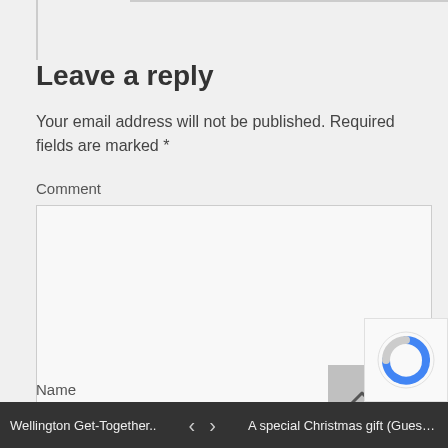Leave a reply
Your email address will not be published. Required fields are marked *
Comment
[Figure (screenshot): Empty comment textarea input box with resize handle]
Name
Wellington Get-Together.. < > A special Christmas gift (Guest P...